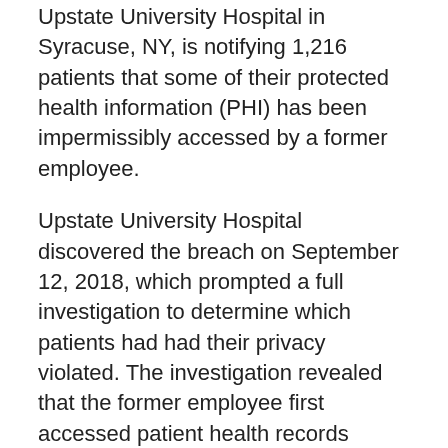Upstate University Hospital in Syracuse, NY, is notifying 1,216 patients that some of their protected health information (PHI) has been impermissibly accessed by a former employee.
Upstate University Hospital discovered the breach on September 12, 2018, which prompted a full investigation to determine which patients had had their privacy violated. The investigation revealed that the former employee first accessed patient health records without any legitimate work reason for doing so on November 3, 2016. Patient records continued to be accessed until October 23, 2017.
The investigation did not uncover any evidence to suggest any information had been printed, copied, or forwarded outside the organization.
It is unclear why the former employee accessed the records. No information on the motives behind the